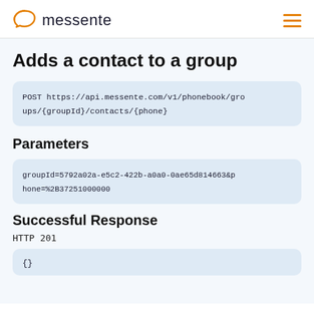messente
Adds a contact to a group
POST https://api.messente.com/v1/phonebook/groups/{groupId}/contacts/{phone}
Parameters
groupId=5792a02a-e5c2-422b-a0a0-0ae65d814663&phone=%2B37251000000
Successful Response
HTTP 201
{}